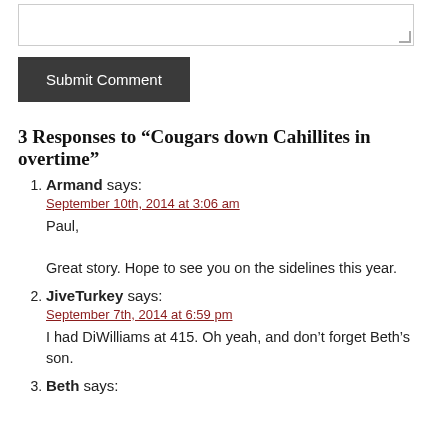[textarea input box]
Submit Comment
3 Responses to “Cougars down Cahillites in overtime”
Armand says:
September 10th, 2014 at 3:06 am
Paul,

Great story. Hope to see you on the sidelines this year.
JiveTurkey says:
September 7th, 2014 at 6:59 pm
I had DiWilliams at 415. Oh yeah, and don’t forget Beth’s son.
Beth says: